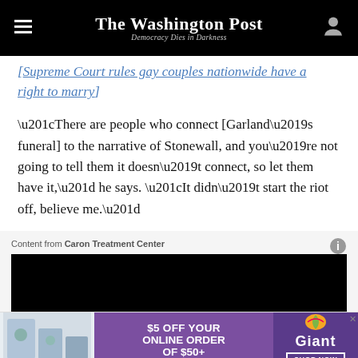The Washington Post — Democracy Dies in Darkness
[Supreme Court rules gay couples nationwide have a right to marry]
“There are people who connect [Garland’s funeral] to the narrative of Stonewall, and you’re not going to tell them it doesn’t connect, so let them have it,” he says. “It didn’t start the riot off, believe me.”
Content from Caron Treatment Center
[Figure (other): Black video/media player area (advertisement content from Caron Treatment Center)]
[Figure (other): Banner advertisement: $5 OFF YOUR ONLINE ORDER OF $50+ — Giant, SHOP NOW]